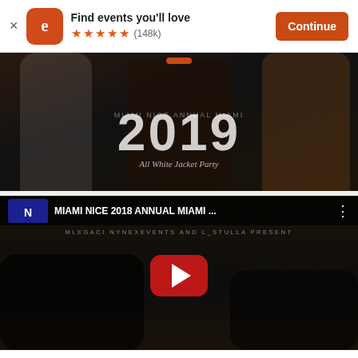Find events you'll love ★★★★★ (148k) Continue
[Figure (photo): Dark party crowd photo with 2019 text overlay and italic subtitle 'All White Jacket Party']
[Figure (screenshot): YouTube video thumbnail: MIAMI NICE 2018 ANNUAL MIAMI ... with play button, presented by MLEGACI NYNEXEVENTS AND L_STULLA]
$75 – $1,250
Tickets